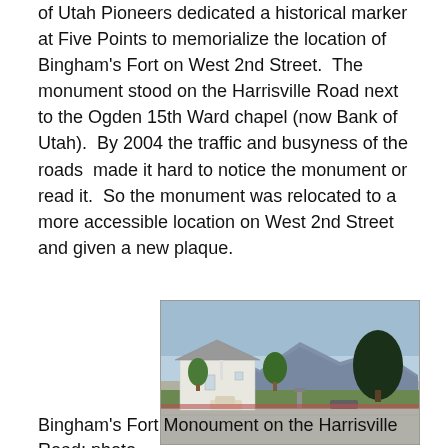of Utah Pioneers dedicated a historical marker at Five Points to memorialize the location of Bingham's Fort on West 2nd Street.  The monument stood on the Harrisville Road next to the Ogden 15th Ward chapel (now Bank of Utah).  By 2004 the traffic and busyness of the roads  made it hard to notice the monument or read it.  So the monument was relocated to a more accessible location on West 2nd Street and given a new plaque.
[Figure (photo): Photograph of Bingham's Fort Monument on the Harrisville Road, showing a white building (Ogden 15th Ward chapel/Bank of Utah), trees, a car, mountains in the background, and a monument marker near the road.]
Bingham's Fort Monoument on the Harrisville Road; photo